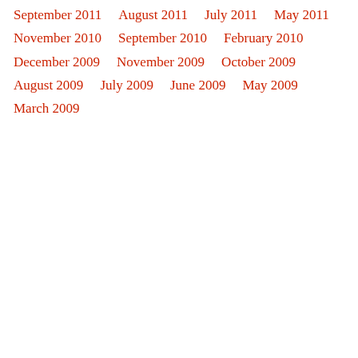September 2011
August 2011
July 2011
May 2011
November 2010
September 2010
February 2010
December 2009
November 2009
October 2009
August 2009
July 2009
June 2009
May 2009
March 2009